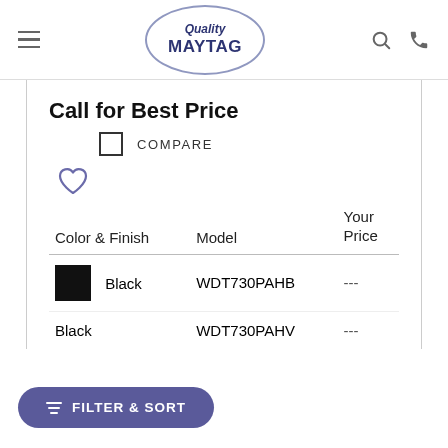Quality MAYTAG
Call for Best Price
COMPARE
| Color & Finish | Model | Your Price |
| --- | --- | --- |
| Black | WDT730PAHB | --- |
| Black | WDT730PAHV | --- |